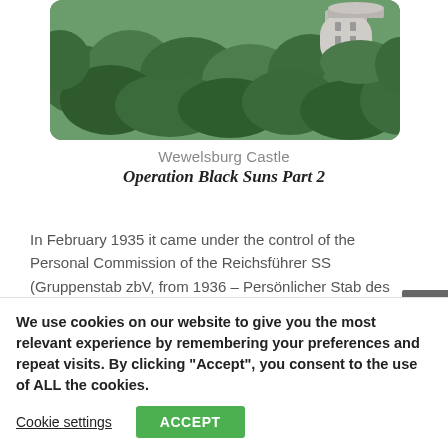[Figure (photo): Aerial view of Wewelsburg Castle surrounded by dense green forest, with a round stone tower visible in the upper right.]
Wewelsburg Castle
Operation Black Suns Part 2
In February 1935 it came under the control of the Personal Commission of the Reichsführer SS (Gruppenstab zbV, from 1936 – Persönlicher Stab des SS-Reichsführer) Heinrich Himmler.
We use cookies on our website to give you the most relevant experience by remembering your preferences and repeat visits. By clicking “Accept”, you consent to the use of ALL the cookies.